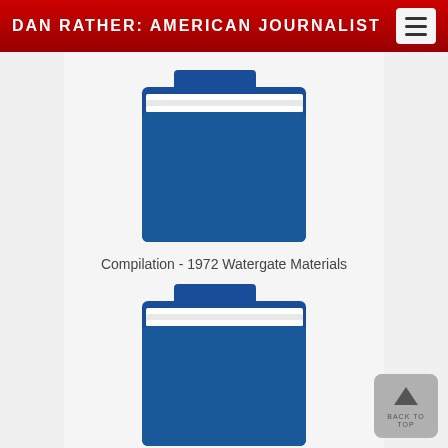DAN RATHER: AMERICAN JOURNALIST
[Figure (illustration): Blue folder icon representing a file compilation]
Compilation - 1972 Watergate Materials
[Figure (illustration): Blue folder icon representing a second file compilation]